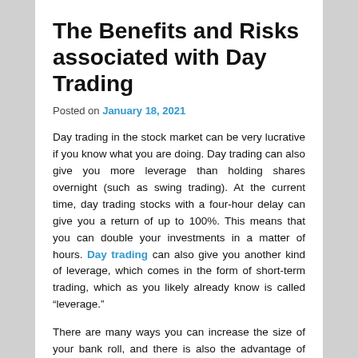The Benefits and Risks associated with Day Trading
Posted on January 18, 2021
Day trading in the stock market can be very lucrative if you know what you are doing. Day trading can also give you more leverage than holding shares overnight (such as swing trading). At the current time, day trading stocks with a four-hour delay can give you a return of up to 100%. This means that you can double your investments in a matter of hours. Day trading can also give you another kind of leverage, which comes in the form of short-term trading, which as you likely already know is called “leverage.”
There are many ways you can increase the size of your bank roll, and there is also the advantage of knowing when the market will move against you and how to trade